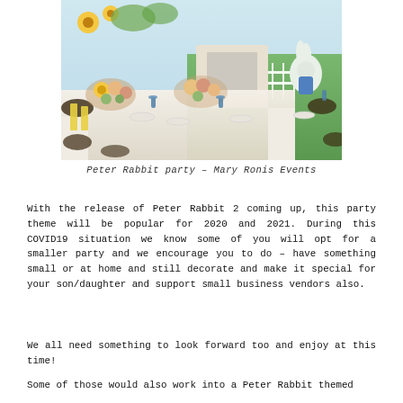[Figure (photo): Elegantly decorated long dining table with floral centerpieces featuring sunflowers, peach roses, and greenery. Blue goblets, white plates, chairs, and a Peter Rabbit themed backdrop with white fence, green lawn, fireplace mantle, and large Peter Rabbit character figurine.]
Peter Rabbit party – Mary Ronis Events
With the release of Peter Rabbit 2 coming up, this party theme will be popular for 2020 and 2021. During this COVID19 situation we know some of you will opt for a smaller party and we encourage you to do – have something small or at home and still decorate and make it special for your son/daughter and support small business vendors also.
We all need something to look forward too and enjoy at this time!
Some of those would also work into a Peter Rabbit themed